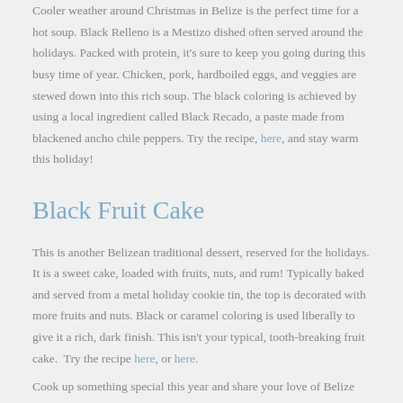Cooler weather around Christmas in Belize is the perfect time for a hot soup. Black Relleno is a Mestizo dished often served around the holidays. Packed with protein, it's sure to keep you going during this busy time of year. Chicken, pork, hardboiled eggs, and veggies are stewed down into this rich soup. The black coloring is achieved by using a local ingredient called Black Recado, a paste made from blackened ancho chile peppers. Try the recipe, here, and stay warm this holiday!
Black Fruit Cake
This is another Belizean traditional dessert, reserved for the holidays. It is a sweet cake, loaded with fruits, nuts, and rum! Typically baked and served from a metal holiday cookie tin, the top is decorated with more fruits and nuts. Black or caramel coloring is used liberally to give it a rich, dark finish. This isn't your typical, tooth-breaking fruit cake.  Try the recipe here, or here.
Cook up something special this year and share your love of Belize